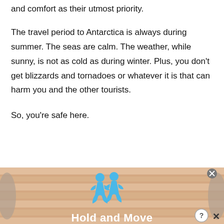and comfort as their utmost priority.
The travel period to Antarctica is always during summer. The seas are calm. The weather, while sunny, is not as cold as during winter. Plus, you don't get blizzards and tornadoes or whatever it is that can harm you and the other tourists.
So, you're safe here.
[Figure (illustration): Mobile app advertisement banner with peach/tan striped background showing two blue human figure icons and bold white text reading 'Hold and Move', with a close (X) button and help (?) button overlaid.]